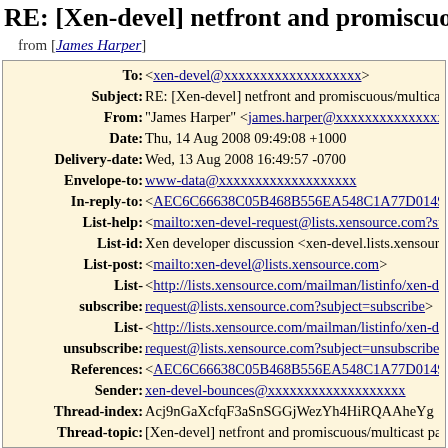RE: [Xen-devel] netfront and promiscuous/
from [James Harper]
| To: | <xen-devel@xxxxxxxxxxxxxxxxxxx> |
| Subject: | RE: [Xen-devel] netfront and promiscuous/multicas |
| From: | "James Harper" <james.harper@xxxxxxxxxxxxxxx |
| Date: | Thu, 14 Aug 2008 09:49:08 +1000 |
| Delivery-date: | Wed, 13 Aug 2008 16:49:57 -0700 |
| Envelope-to: | www-data@xxxxxxxxxxxxxxxxxxx |
| In-reply-to: | <AEC6C66638C05B468B556EA548C1A77D0149 |
| List-help: | <mailto:xen-devel-request@lists.xensource.com?su |
| List-id: | Xen developer discussion <xen-devel.lists.xensourc |
| List-post: | <mailto:xen-devel@lists.xensource.com> |
| List- subscribe: | <http://lists.xensource.com/mailman/listinfo/xen-de request@lists.xensource.com?subject=subscribe> |
| List- unsubscribe: | <http://lists.xensource.com/mailman/listinfo/xen-de request@lists.xensource.com?subject=unsubscribe> |
| References: | <AEC6C66638C05B468B556EA548C1A77D0149 |
| Sender: | xen-devel-bounces@xxxxxxxxxxxxxxxxxxx |
| Thread-index: | Acj9nGaXcfqF3aSnSGGjWezYh4HiRQAAheYg |
| Thread-topic: | [Xen-devel] netfront and promiscuous/multicast pa |